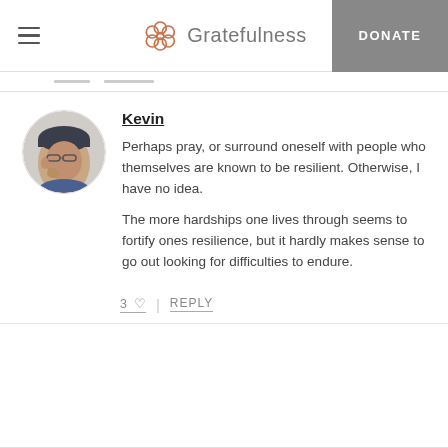Gratefulness  DONATE
Kevin
Perhaps pray, or surround oneself with people who themselves are known to be resilient. Otherwise, I have no idea.

The more hardships one lives through seems to fortify ones resilience, but it hardly makes sense to go out looking for difficulties to endure.
3 ♡  |  REPLY